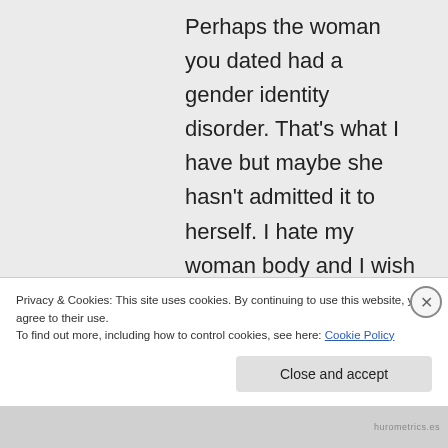Perhaps the woman you dated had a gender identity disorder. That's what I have but maybe she hasn't admitted it to herself. I hate my woman body and I wish I was a man. So I often end up over-analysing every
Privacy & Cookies: This site uses cookies. By continuing to use this website, you agree to their use.
To find out more, including how to control cookies, see here: Cookie Policy
Close and accept